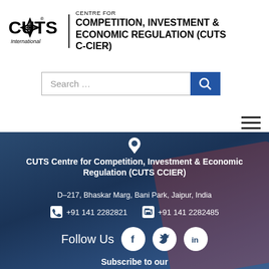[Figure (logo): CUTS International logo with star/compass icon]
CENTRE FOR COMPETITION, INVESTMENT & ECONOMIC REGULATION (CUTS C-CIER)
[Figure (screenshot): Search bar with text 'Search ...' and blue search button]
[Figure (infographic): Hamburger menu icon (three horizontal lines)]
CUTS Centre for Competition, Investment & Economic Regulation (CUTS CCIER)
D–217, Bhaskar Marg, Bani Park, Jaipur, India
+91 141 2282821   +91 141 2282485
Follow Us
Subscribe to our